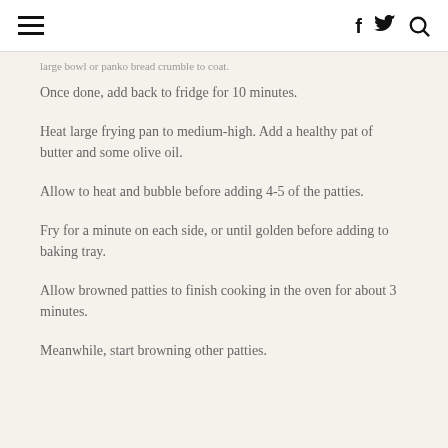≡  f  🐦  🔍
large bowl or panko bread crumble to coat.
Once done, add back to fridge for 10 minutes.
Heat large frying pan to medium-high. Add a healthy pat of butter and some olive oil.
Allow to heat and bubble before adding 4-5 of the patties.
Fry for a minute on each side, or until golden before adding to baking tray.
Allow browned patties to finish cooking in the oven for about 3 minutes.
Meanwhile, start browning other patties.